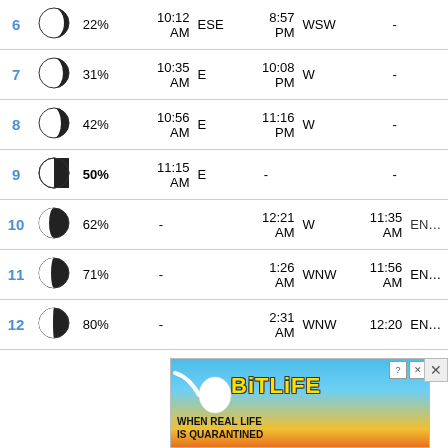| Day | Moon | % | Rise Time | Rise Dir | Set Time | Set Dir | Transit1 | Dir1 |
| --- | --- | --- | --- | --- | --- | --- | --- | --- |
| 6 | waxing crescent | 22% | 10:12 AM | ESE | 8:57 PM | WSW | - |  |
| 7 | waxing crescent | 31% | 10:35 AM | E | 10:08 PM | W | - |  |
| 8 | waxing crescent | 42% | 10:56 AM | E | 11:16 PM | W | - |  |
| 9 | first quarter | 50% | 11:15 AM | E | - |  | - |  |
| 10 | waxing gibbous | 62% | - |  | 12:21 AM | W | 11:35 AM | ENE |
| 11 | waxing gibbous | 71% | - |  | 1:26 AM | WNW | 11:56 AM | ENE |
| 12 | waxing gibbous | 80% | - |  | 2:31 AM | WNW | 12:20 | ENE |
[Figure (screenshot): BitLife advertisement banner: 'WHEN REAL LIFE IS QUARANTINED' with sperm and BitLife logo on blue/yellow background]